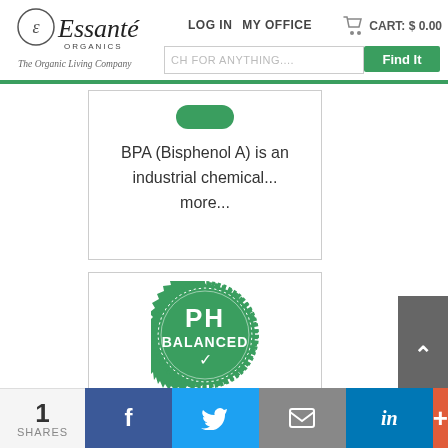[Figure (logo): Essanté Organics logo with circular emblem and cursive text, tagline 'The Organic Living Company']
LOG IN   MY OFFICE   CART: $0.00
SEARCH FOR ANYTHING....
Find It
BPA (Bisphenol A) is an industrial chemical... more...
[Figure (logo): PH Balanced green circular stamp/seal with checkmark]
Essanté Organics
1
SHARES